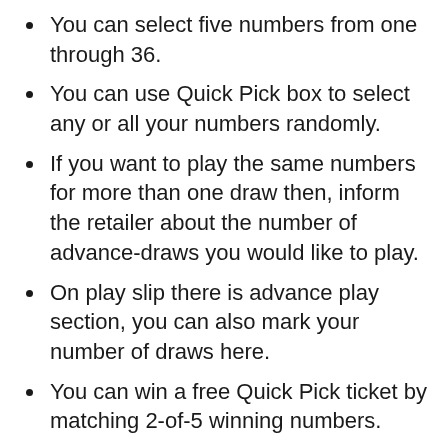You can select five numbers from one through 36.
You can use Quick Pick box to select any or all your numbers randomly.
If you want to play the same numbers for more than one draw then, inform the retailer about the number of advance-draws you would like to play.
On play slip there is advance play section, you can also mark your number of draws here.
You can win a free Quick Pick ticket by matching 2-of-5 winning numbers.
You can win cash prizes by matching 3 to 5 winning numbers.
The top prize is approximately $200,000 (if won by a single winner). You can win by matching 5-of-5 winning numbers.